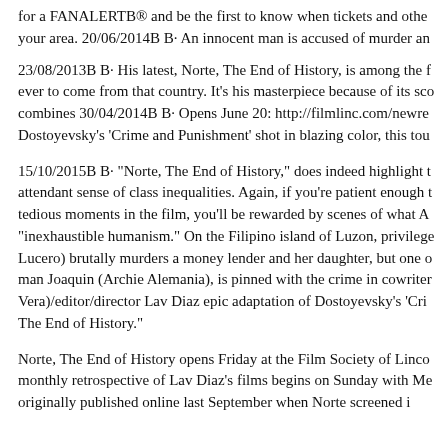for a FANALERTB® and be the first to know when tickets and other events come to your area. 20/06/2014B B· An innocent man is accused of murder an...
23/08/2013B B· His latest, Norte, The End of History, is among the finest films ever to come from that country. It's his masterpiece because of its scope combines 30/04/2014B B· Opens June 20: http://filmlinc.com/newre... Dostoyevsky's 'Crime and Punishment' shot in blazing color, this tou...
15/10/2015B B· "Norte, The End of History," does indeed highlight the attendant sense of class inequalities. Again, if you're patient enough to sit through tedious moments in the film, you'll be rewarded by scenes of what A "inexhaustible humanism." On the Filipino island of Luzon, privilege... Lucero) brutally murders a money lender and her daughter, but one o... man Joaquin (Archie Alemania), is pinned with the crime in cowriter... Vera)/editor/director Lav Diaz epic adaptation of Dostoyevsky's 'Cri... The End of History."
Norte, The End of History opens Friday at the Film Society of Linco... monthly retrospective of Lav Diaz's films begins on Sunday with Me... originally published online last September when Norte screened i...